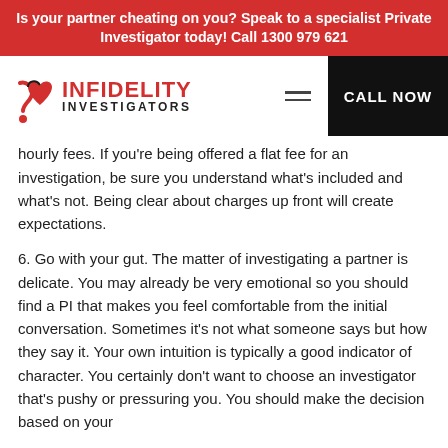Is your partner cheating on you? Speak to a specialist Private Investigator today! Call 1300 979 621
[Figure (logo): Infidelity Investigators logo with a heart/question mark icon in red and black, text 'INFIDELITY INVESTIGATORS']
hourly fees. If you're being offered a flat fee for an investigation, be sure you understand what's included and what's not. Being clear about charges up front will create expectations.
6. Go with your gut. The matter of investigating a partner is delicate. You may already be very emotional so you should find a PI that makes you feel comfortable from the initial conversation. Sometimes it's not what someone says but how they say it. Your own intuition is typically a good indicator of character. You certainly don't want to choose an investigator that's pushy or pressuring you. You should make the decision based on your